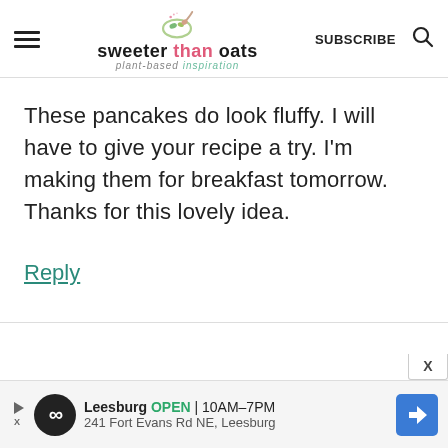sweeter than oats — plant-based inspiration | SUBSCRIBE
These pancakes do look fluffy. I will have to give your recipe a try. I'm making them for breakfast tomorrow. Thanks for this lovely idea.
Reply
[Figure (screenshot): Website advertisement banner: Leesburg OPEN 10AM-7PM, 241 Fort Evans Rd NE, Leesburg with map directions button]